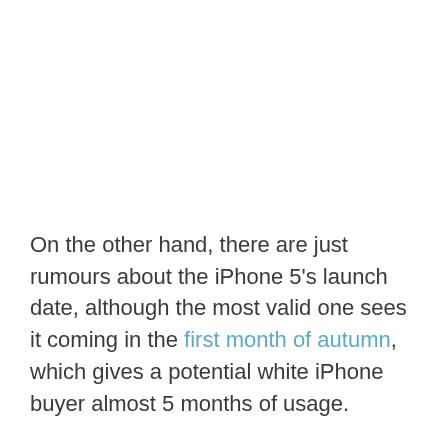On the other hand, there are just rumours about the iPhone 5's launch date, although the most valid one sees it coming in the first month of autumn, which gives a potential white iPhone buyer almost 5 months of usage.